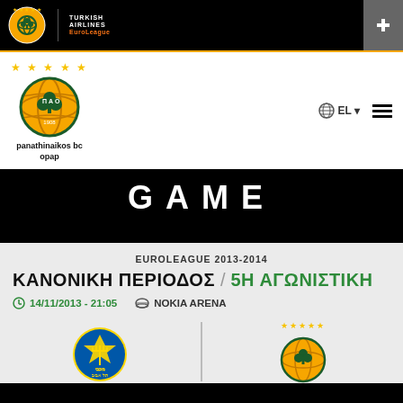panathinaikos bc opap | Turkish Airlines EuroLeague
[Figure (logo): Panathinaikos BC OPAP logo with globe icon, language selector EL, and hamburger menu]
GAME
EUROLEAGUE 2013-2014
ΚΑΝΟΝΙΚΗ ΠΕΡΙΟΔΟΣ / 5Η ΑΓΩΝΙΣΤΙΚΗ
14/11/2013 - 21:05   NOKIA ARENA
[Figure (logo): Maccabi Tel Aviv team logo (blue/green/yellow) on the left, Panathinaikos BC OPAP logo on the right, separated by a vertical divider]